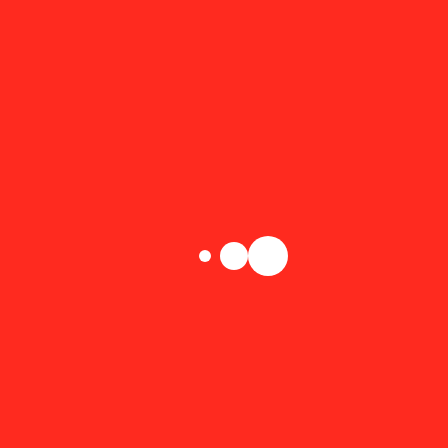[Figure (illustration): Solid red background with three white circles of increasing size arranged horizontally near the center-bottom area of the image. The smallest circle is on the left, medium in the middle, and largest on the right.]